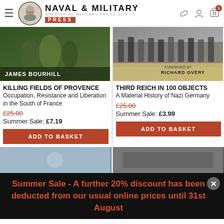[Figure (screenshot): Naval & Military Press website header with hamburger menu, logo, and navigation icons including cart with badge '1']
[Figure (photo): Book cover: Killing Fields of Provence by James Bourhill — dark wartime photo]
KILLING FIELDS OF PROVENCE
Occupation, Resistance and Liberation in the South of France
£25.00
Summer Sale: £7.19
[Figure (photo): Book cover: Third Reich in 100 Objects — foreword by Richard Overy, soldiers marching]
THIRD REICH IN 100 OBJECTS
A Material History of Nazi Germany
£25.00
Summer Sale: £3.99
Summer Sale - A further 20% discount has been deducted from our usual online prices until 31st August